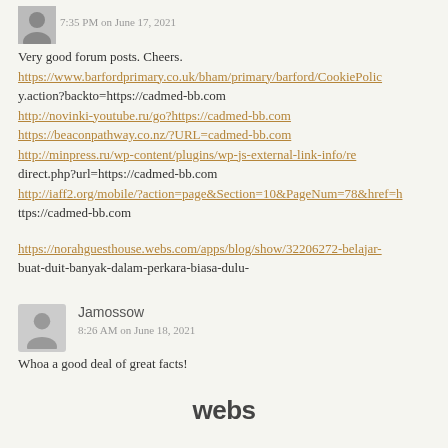7:35 PM on June 17, 2021
Very good forum posts. Cheers.
https://www.barfordprimary.co.uk/bham/primary/barford/CookiePolicy.action?backto=https://cadmed-bb.com
http://novinki-youtube.ru/go?https://cadmed-bb.com
https://beaconpathway.co.nz/?URL=cadmed-bb.com
http://minpress.ru/wp-content/plugins/wp-js-external-link-info/redirect.php?url=https://cadmed-bb.com
http://iaff2.org/mobile/?action=page&Section=10&PageNum=78&href=https://cadmed-bb.com
https://norahguesthouse.webs.com/apps/blog/show/32206272-belajar-buat-duit-banyak-dalam-perkara-biasa-dulu-
Jamossow
8:26 AM on June 18, 2021
Whoa a good deal of great facts!
webs